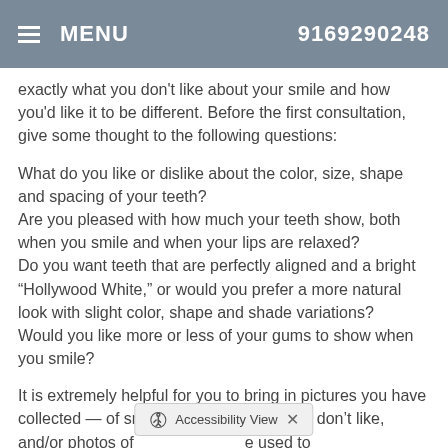MENU  9169290248
exactly what you don't like about your smile and how you'd like it to be different. Before the first consultation, give some thought to the following questions:
What do you like or dislike about the color, size, shape and spacing of your teeth?
Are you pleased with how much your teeth show, both when you smile and when your lips are relaxed?
Do you want teeth that are perfectly aligned and a bright “Hollywood White,” or would you prefer a more natural look with slight color, shape and shade variations?
Would you like more or less of your gums to show when you smile?
It is extremely helpful for you to bring in pictures you have collected — of smiles you like, smiles you don’t like, and/or photos of                               e used to